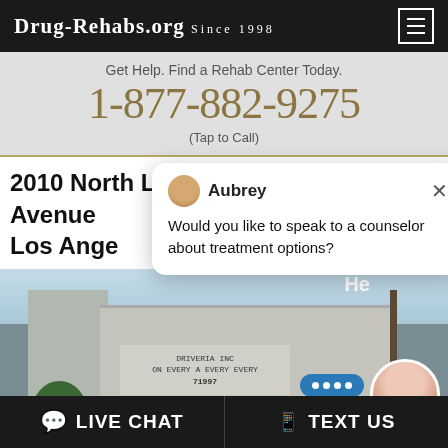Drug-Rehabs.org Since 1998
Get Help. Find a Rehab Center Today.
1-877-882-9275
(Tap to Call)
2010 North Lincoln Park Avenue Los Angeles
Aubrey
Would you like to speak to a counselor about treatment options?
[Figure (photo): Building exterior photo with a chat widget overlay showing an online agent and message bubble]
He
Online Agent
LIVE CHAT   TEXT US